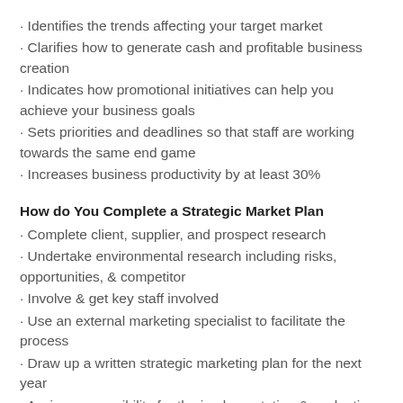· Identifies the trends affecting your target market
· Clarifies how to generate cash and profitable business creation
· Indicates how promotional initiatives can help you achieve your business goals
· Sets priorities and deadlines so that staff are working towards the same end game
· Increases business productivity by at least 30%
How do You Complete a Strategic Market Plan
· Complete client, supplier, and prospect research
· Undertake environmental research including risks, opportunities, & competitor
· Involve & get key staff involved
· Use an external marketing specialist to facilitate the process
· Draw up a written strategic marketing plan for the next year
· Assign responsibility for the implementation & evaluation
· Reduce the contents to 1-2 pages & have these as a screensaver